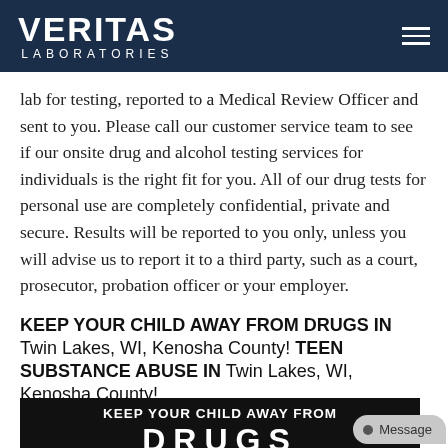VERITAS LABORATORIES
lab for testing, reported to a Medical Review Officer and sent to you. Please call our customer service team to see if our onsite drug and alcohol testing services for individuals is the right fit for you. All of our drug tests for personal use are completely confidential, private and secure. Results will be reported to you only, unless you will advise us to report it to a third party, such as a court, prosecutor, probation officer or your employer.
KEEP YOUR CHILD AWAY FROM DRUGS IN Twin Lakes, WI, Kenosha County! TEEN SUBSTANCE ABUSE IN Twin Lakes, WI, Kenosha County!
[Figure (photo): Dark banner image with white bold text reading 'KEEP YOUR CHILD AWAY FROM' and large white letters 'DRUGS' partially visible at bottom, with a Message button overlay in grey.]